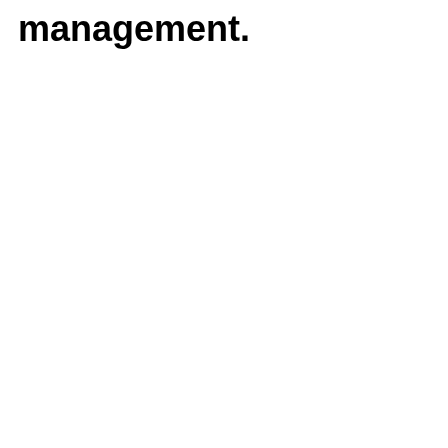management.
[Figure (illustration): Seal Beach image thumbnail with label starting with 'Ma']
Ma
[Figure (illustration): Seal Beach image thumbnail with caption about license plate]
The license pla
[Figure (illustration): Seal Beach image thumbnail with caption '1954 B']
1954 B
[Figure (illustration): Seal Beach image thumbnail with caption starting with 'T']
T
[Figure (illustration): Seal Beach image thumbnail with no visible caption text]
[Figure (illustration): Seal Beach image thumbnail with caption about Henry]
What would Henry
[Figure (illustration): Seal Beach image thumbnail with caption about aerodynamics]
Not very aerodynam
[Figure (illustration): Seal Beach image thumbnail with caption about stores]
The stores of M